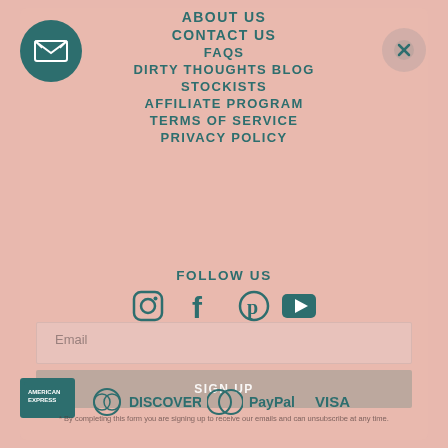ABOUT US
CONTACT US
FAQs
DIRTY THOUGHTS BLOG
STOCKISTS
AFFILIATE PROGRAM
TERMS OF SERVICE
PRIVACY POLICY
FOLLOW US
[Figure (infographic): Social media icons: Instagram, Facebook, Pinterest, YouTube]
Email
SIGN UP
[Figure (infographic): Payment method logos: American Express, Diners Club, Discover, Mastercard, PayPal, Visa]
* By completing this form you are signing up to receive our emails and can unsubscribe at any time.